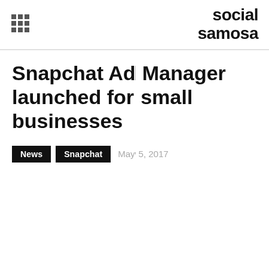social samosa
Snapchat Ad Manager launched for small businesses
News  Snapchat  May 5, 2017